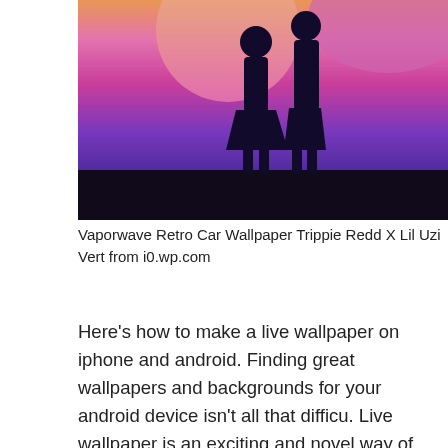[Figure (illustration): Vaporwave-style illustration showing two silhouettes of people standing against a vibrant gradient background with sunset colors — orange, pink, magenta, and deep purple at the bottom. The silhouettes appear to be holding hands.]
Vaporwave Retro Car Wallpaper Trippie Redd X Lil Uzi Vert from i0.wp.com
Here's how to make a live wallpaper on iphone and android. Finding great wallpapers and backgrounds for your android device isn't all that difficu. Live wallpaper is an exciting and novel way of spicing up your smartphone's home and lock screens. So which wallpaper apps do you like?